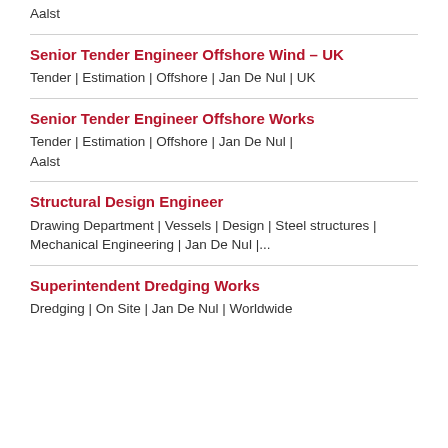Aalst
Senior Tender Engineer Offshore Wind – UK
Tender | Estimation | Offshore | Jan De Nul | UK
Senior Tender Engineer Offshore Works
Tender | Estimation | Offshore | Jan De Nul | Aalst
Structural Design Engineer
Drawing Department | Vessels | Design | Steel structures | Mechanical Engineering | Jan De Nul |...
Superintendent Dredging Works
Dredging | On Site | Jan De Nul | Worldwide